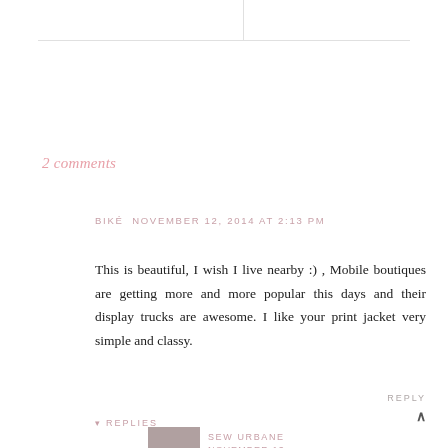2 comments
BIKÉ  NOVEMBER 12, 2014 AT 2:13 PM
This is beautiful, I wish I live nearby :) , Mobile boutiques are getting more and more popular this days and their display trucks are awesome. I like your print jacket very simple and classy.
REPLY
▾ REPLIES
SEW URBANE   NOVEMBER 13, 2014 AT 7:12 PM